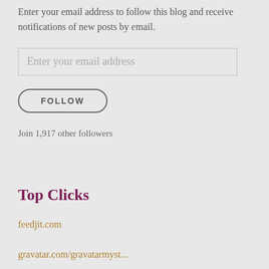Enter your email address to follow this blog and receive notifications of new posts by email.
Enter your email address
FOLLOW
Join 1,917 other followers
Top Clicks
feedjit.com
gravatar.com/gravatarmyst...